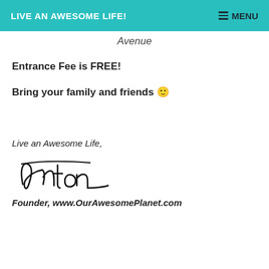LIVE AN AWESOME LIFE!  MENU
Avenue
Entrance Fee is FREE!
Bring your family and friends 🙂
Live an Awesome Life,
[Figure (illustration): Handwritten signature reading 'Anton']
Founder, www.OurAwesomePlanet.com